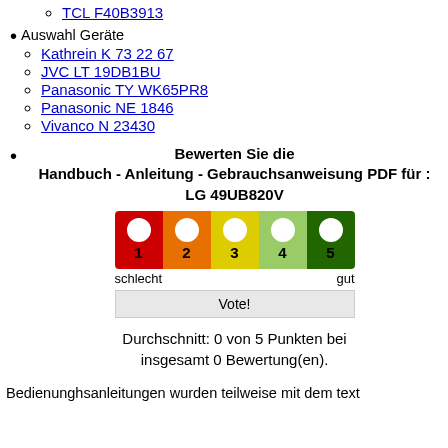TCL F40B3913
Auswahl Geräte
Kathrein K 73 22 67
JVC LT 19DB1BU
Panasonic TY WK65PR8
Panasonic NE 1846
Vivanco N 23430
Bewerten Sie die Handbuch - Anleitung - Gebrauchsanweisung PDF für : LG 49UB820V
[Figure (other): 5-star rating widget with colored radio buttons: 1=red, 2=orange, 3=yellow, 4=light green, 5=dark green. Labels: schlecht (left), gut (right). Vote! button below.]
Durchschnitt: 0 von 5 Punkten bei insgesamt 0 Bewertung(en).
Bedienunghsanleitungen wurden teilweise mit dem text